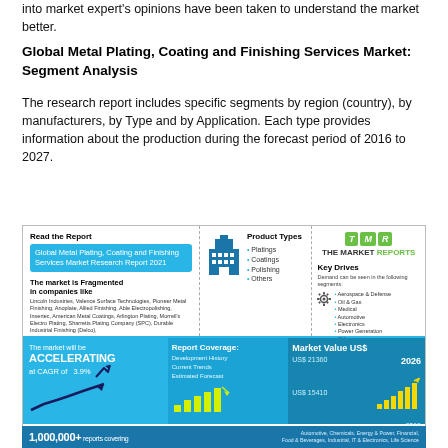into market expert's opinions have been taken to understand the market better.
Global Metal Plating, Coating and Finishing Services Market: Segment Analysis
The research report includes specific segments by region (country), by manufacturers, by Type and by Application. Each type provides information about the production during the forecast period of 2016 to 2027.
[Figure (infographic): Infographic for Global Metal Plating, Coating and Finishing Services Market Research Report 2021 by The Market Reports (TMR). Shows market fragmentation, product types (Platings, Coatings, Polishing, Others), key drives (Aerospace & Defense, Oil & Gas, Medical, Automotive, Electronics, Power Generation, Others), market accelerating at CAGR of 3.9%, report coverage (Development History, Current Trends, Estimated Forecast), Market Value US$ from US$15410 in 2019 to US$21360 in 2026.]
1,000,000+ reports covering Automotive, Chemicals, Energy & Power, Financial, Food & Beverages, Industrial, IT & Electronics, Life Science